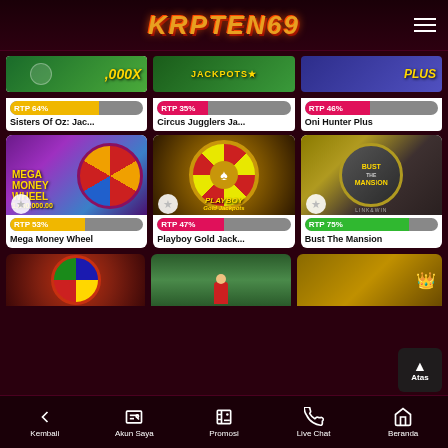KAPTEN69
[Figure (screenshot): Sisters Of Oz: Jackpots slot game thumbnail - green background with golden text]
[Figure (screenshot): Circus Jugglers Jackpots slot game thumbnail - green background with JACKPOTS text]
[Figure (screenshot): Oni Hunter Plus slot game thumbnail - blue/purple background with PLUS text]
[Figure (screenshot): Mega Money Wheel slot game thumbnail - colorful wheel with 1,000,000.00 jackpot]
[Figure (screenshot): Playboy Gold Jackpots slot game thumbnail - golden spinning wheel with Playboy bunny]
[Figure (screenshot): Bust The Mansion Link&Win slot game thumbnail - dark metallic design]
RTP 64%
Sisters Of Oz: Jac...
RTP 35%
Circus Jugglers Ja...
RTP 46%
Oni Hunter Plus
RTP 53%
Mega Money Wheel
RTP 47%
Playboy Gold Jack...
RTP 75%
Bust The Mansion
Kembali | Akun Saya | Promosi | Live Chat | Beranda